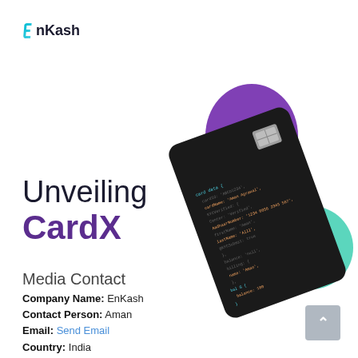[Figure (logo): EnKash logo with stylized E in teal/blue and 'nKash' in dark text]
[Figure (illustration): Dark credit/debit card with code displayed on screen, tilted at angle, with purple blob shape behind and teal/green blob shape to the right, plus grey wifi-like icon]
Unveiling CardX
Media Contact
Company Name: EnKash
Contact Person: Aman
Email: Send Email
Country: India
Website: www.enkash.com